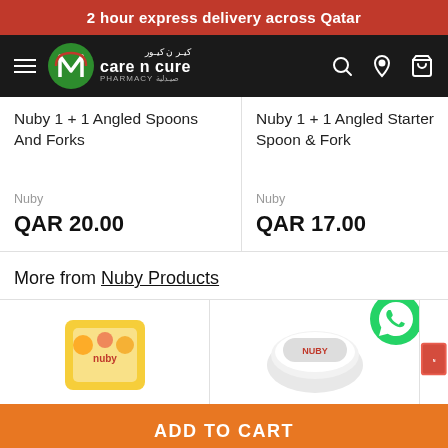2 hour express delivery across Qatar
[Figure (logo): Care n Cure Pharmacy logo with green N icon and Arabic/English text on black navbar with hamburger menu, search, location, and cart icons]
Nuby 1 + 1 Angled Spoons And Forks
Nuby
QAR 20.00
Nuby 1 + 1 Angled Starter Spoon & Fork
Nuby
QAR 17.00
Nuby 1 Silicone
Nuby
QAR 9
More from Nuby Products
[Figure (photo): Bottom row of Nuby product images partially visible]
ADD TO CART